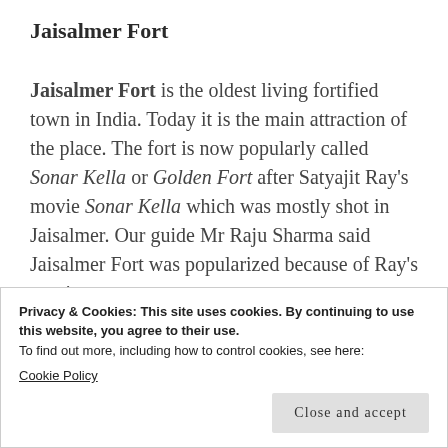Jaisalmer Fort
Jaisalmer Fort is the oldest living fortified town in India. Today it is the main attraction of the place. The fort is now popularly called Sonar Kella or Golden Fort after Satyajit Ray's movie Sonar Kella which was mostly shot in Jaisalmer. Our guide Mr Raju Sharma said Jaisalmer Fort was popularized because of Ray's movie
Privacy & Cookies: This site uses cookies. By continuing to use this website, you agree to their use.
To find out more, including how to control cookies, see here:
Cookie Policy
Close and accept